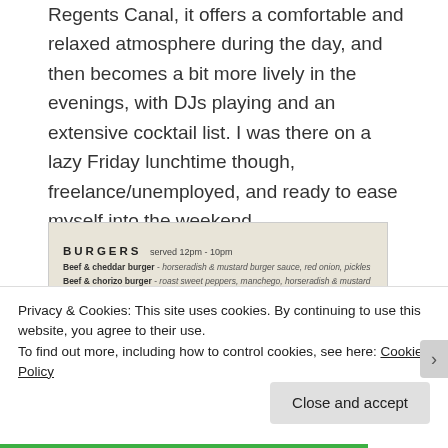Regents Canal, it offers a comfortable and relaxed atmosphere during the day, and then becomes a bit more lively in the evenings, with DJs playing and an extensive cocktail list. I was there on a lazy Friday lunchtime though, freelance/unemployed, and ready to ease myself into the weekend.
[Figure (photo): A photo of a restaurant menu showing BURGERS served 12pm-10pm with items: Beef & cheddar burger, Beef & chorizo burger, Pulled pork burger]
Privacy & Cookies: This site uses cookies. By continuing to use this website, you agree to their use.
To find out more, including how to control cookies, see here: Cookie Policy
Close and accept